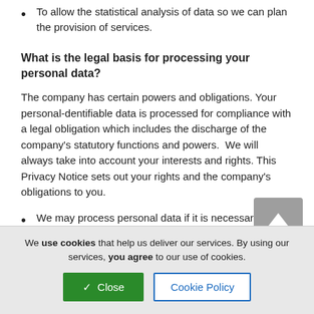To allow the statistical analysis of data so we can plan the provision of services.
What is the legal basis for processing your personal data?
The company has certain powers and obligations. Your personal-dentifiable data is processed for compliance with a legal obligation which includes the discharge of the company's statutory functions and powers.  We will always take into account your interests and rights. This Privacy Notice sets out your rights and the company's obligations to you.
We may process personal data if it is necessary for the performance of a contract with you, or to take steps to enter into a contract.
We use cookies that help us deliver our services. By using our services, you agree to our use of cookies.